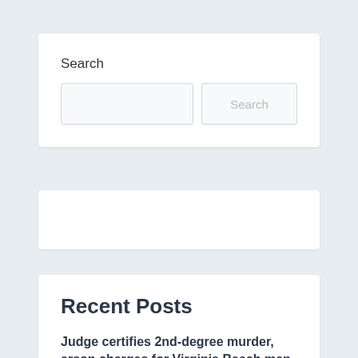Search
[Figure (screenshot): Search input box with a Search button]
[Figure (other): Empty white card/widget area]
Recent Posts
Judge certifies 2nd-degree murder, arson charges for Virginia Beach man accused of